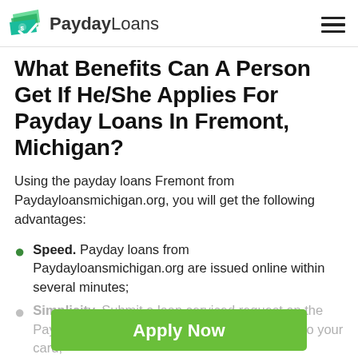PaydayLoans
What Benefits Can A Person Get If He/She Applies For Payday Loans In Fremont, Michigan?
Using the payday loans Fremont from Paydayloansmichigan.org, you will get the following advantages:
Speed. Payday loans from Paydayloansmichigan.org are issued online within several minutes;
Simplicity. Submit a loan serviced request on the Paydayloansmichigan.org site and get money to your card;
Convenience. You can apply for payday loans in
[Figure (infographic): Green 'Apply Now' button with subtext 'Applying does NOT affect your credit score! No credit check to apply.']